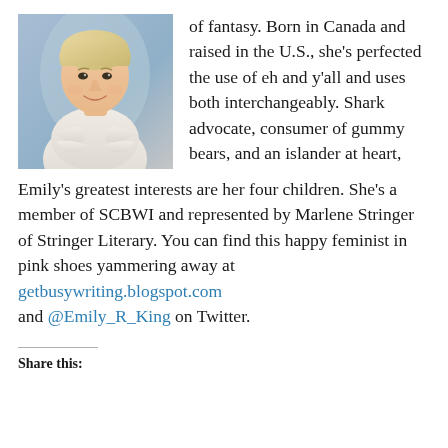[Figure (photo): Portrait photo of a woman with short blonde hair, wearing a light cream knit sweater, arms crossed, smiling, with a blue background]
of fantasy. Born in Canada and raised in the U.S., she’s perfected the use of eh and y’all and uses both interchangeably. Shark advocate, consumer of gummy bears, and an islander at heart, Emily’s greatest interests are her four children. She’s a member of SCBWI and represented by Marlene Stringer of Stringer Literary. You can find this happy feminist in pink shoes yammering away at getbusywriting.blogspot.com and @Emily_R_King on Twitter.
Share this: